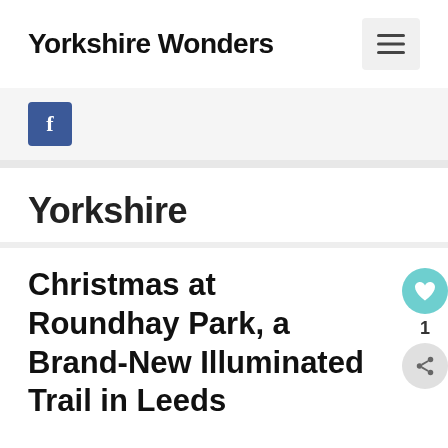Yorkshire Wonders
[Figure (illustration): Facebook share button with f icon in blue square]
Yorkshire
Christmas at Roundhay Park, a Brand-New Illuminated Trail in Leeds